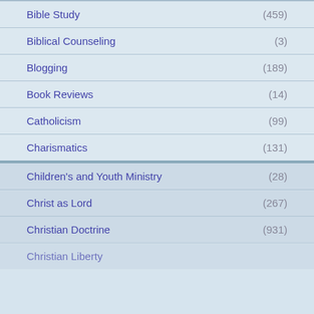Bible Study (459)
Biblical Counseling (3)
Blogging (189)
Book Reviews (14)
Catholicism (99)
Charismatics (131)
Children's and Youth Ministry (28)
Christ as Lord (267)
Christian Doctrine (931)
Christian Liberty (31)